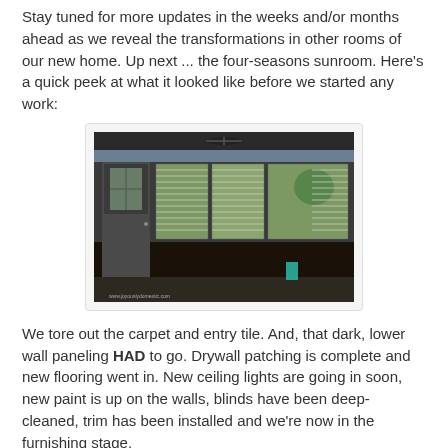Stay tuned for more updates in the weeks and/or months ahead as we reveal the transformations in other rooms of our new home. Up next ... the four-seasons sunroom. Here's a quick peek at what it looked like before we started any work:
[Figure (photo): Interior photo of a sunroom before renovation, showing dark lower wall paneling, carpet flooring, a door on the left side, and multiple windows with horizontal blinds along the wall. The ceiling has a fan and some lighting.]
We tore out the carpet and entry tile. And, that dark, lower wall paneling HAD to go. Drywall patching is complete and new flooring went in. New ceiling lights are going in soon, new paint is up on the walls, blinds have been deep-cleaned, trim has been installed and we're now in the furnishing stage.
If you'd like to follow along with Joyously Domestic on our remodel journey (and stay up to date when new